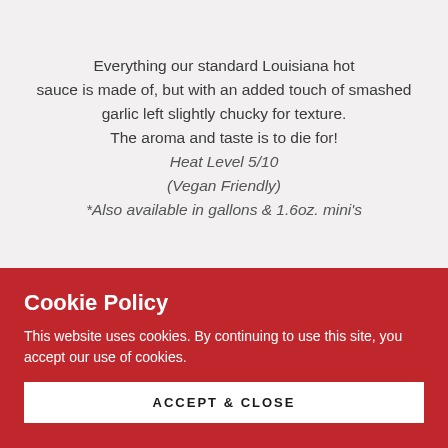Everything our standard Louisiana hot sauce is made of, but with an added touch of smashed garlic left slightly chucky for texture. The aroma and taste is to die for! Heat Level 5/10 (Vegan Friendly) *Also available in gallons & 1.6oz. mini's
Cookie Policy
This website uses cookies. By continuing to use this site, you accept our use of cookies.
ACCEPT & CLOSE